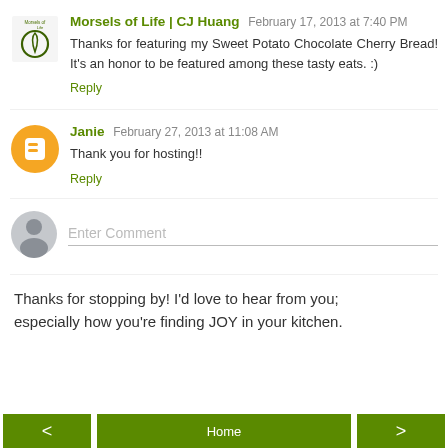Morsels of Life | CJ Huang  February 17, 2013 at 7:40 PM
Thanks for featuring my Sweet Potato Chocolate Cherry Bread! It's an honor to be featured among these tasty eats. :)
Reply
Janie  February 27, 2013 at 11:08 AM
Thank you for hosting!!
Reply
Enter Comment
Thanks for stopping by! I'd love to hear from you; especially how you're finding JOY in your kitchen.
Home